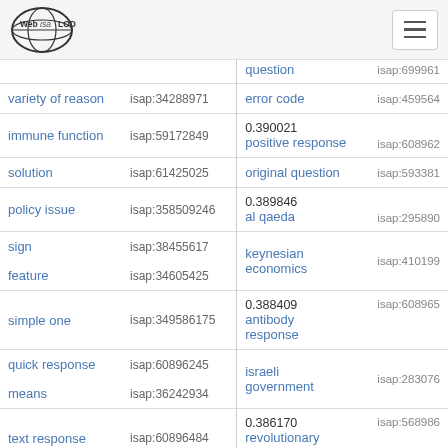Web isa LOD [logo] [hamburger menu]
| term | isap id | score / term | isap id |
| --- | --- | --- | --- |
|  |  | question | isap:699961 |
| variety of reason | isap:34288971 | error code | isap:459564 |
| immune function | isap:59172849 | 0.390021
positive response | isap:608962 |
| solution | isap:61425025 | original question | isap:593381 |
| policy issue | isap:358509246 | 0.389846
al qaeda | isap:295890 |
| sign | isap:38455617 | keynesian economics | isap:410199 |
| feature | isap:34605425 |  |  |
| simple one | isap:349586175 | 0.388409
antibody response | isap:608965 |
| quick response | isap:60896245 | israeli government | isap:283076 |
| means | isap:36242934 |  |  |
| text response | isap:60896484 | 0.386170
revolutionary violence | isap:568986 |
| recent example | isap:34067823 | 0.384... |  |